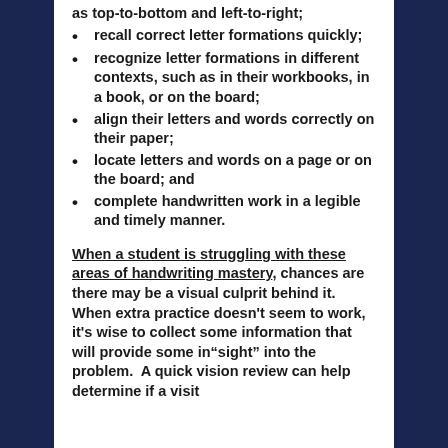as top-to-bottom and left-to-right;
recall correct letter formations quickly;
recognize letter formations in different contexts, such as in their workbooks, in a book, or on the board;
align their letters and words correctly on their paper;
locate letters and words on a page or on the board; and
complete handwritten work in a legible and timely manner.
When a student is struggling with these areas of handwriting mastery, chances are there may be a visual culprit behind it.  When extra practice doesn't seem to work, it's wise to collect some information that will provide some in"sight" into the problem.  A quick vision review can help determine if a visit